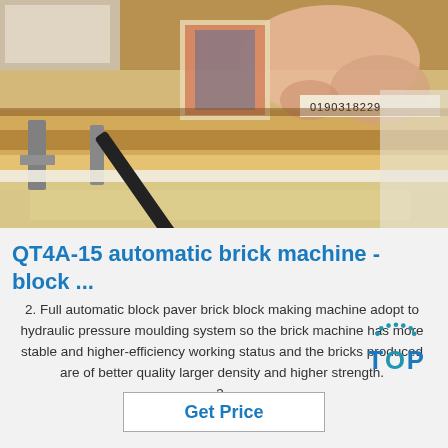[Figure (photo): Close-up photo of hands working with a brick making machine, showing wooden/metal components with a serial number 0190318229 visible on a label.]
QT4A-15 automatic brick machine -block ...
2. Full automatic block paver brick block making machine adopt to hydraulic pressure moulding system so the brick machine has more stable and higher-efficiency working status and the bricks produced are of better quality larger density and higher strength.
3.
[Figure (logo): TOP logo with decorative dots above the letters in blue color]
Get Price